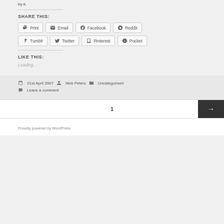by it.
SHARE THIS:
Print | Email | Facebook | Reddit | Tumblr | Twitter | Pinterest | Pocket
LIKE THIS:
Loading...
21st April 2007  Nick Peters  Uncategorised  Leave a comment
1  →
Proudly powered by WordPress